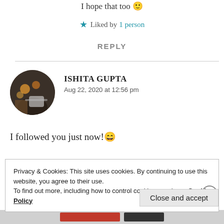I hope that too 🙂
★ Liked by 1 person
REPLY
ISHITA GUPTA
Aug 22, 2020 at 12:56 pm
I followed you just now!😄
Privacy & Cookies: This site uses cookies. By continuing to use this website, you agree to their use.
To find out more, including how to control cookies, see here: Cookie Policy
Close and accept